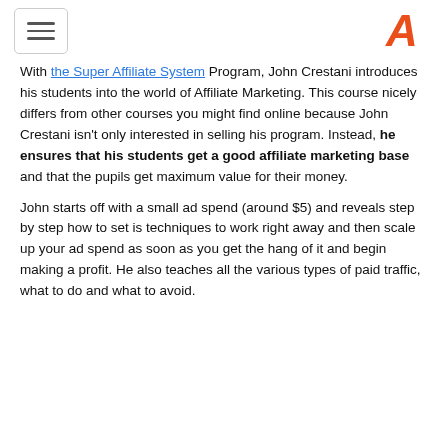[Navigation menu icon] [Logo: A]
With the Super Affiliate System Program, John Crestani introduces his students into the world of Affiliate Marketing. This course nicely differs from other courses you might find online because John Crestani isn't only interested in selling his program. Instead, he ensures that his students get a good affiliate marketing base and that the pupils get maximum value for their money.
John starts off with a small ad spend (around $5) and reveals step by step how to set is techniques to work right away and then scale up your ad spend as soon as you get the hang of it and begin making a profit. He also teaches all the various types of paid traffic, what to do and what to avoid.